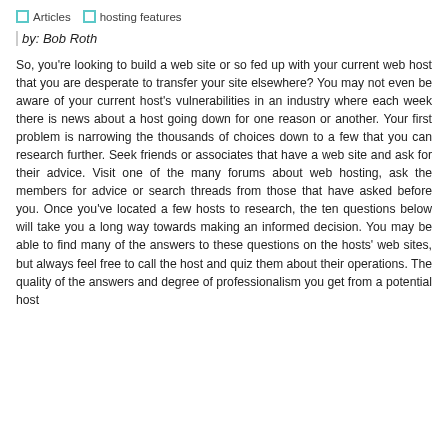Articles   hosting features
by: Bob Roth
So, you're looking to build a web site or so fed up with your current web host that you are desperate to transfer your site elsewhere? You may not even be aware of your current host's vulnerabilities in an industry where each week there is news about a host going down for one reason or another. Your first problem is narrowing the thousands of choices down to a few that you can research further. Seek friends or associates that have a web site and ask for their advice. Visit one of the many forums about web hosting, ask the members for advice or search threads from those that have asked before you. Once you've located a few hosts to research, the ten questions below will take you a long way towards making an informed decision. You may be able to find many of the answers to these questions on the hosts' web sites, but always feel free to call the host and quiz them about their operations. The quality of the answers and degree of professionalism you get from a potential host